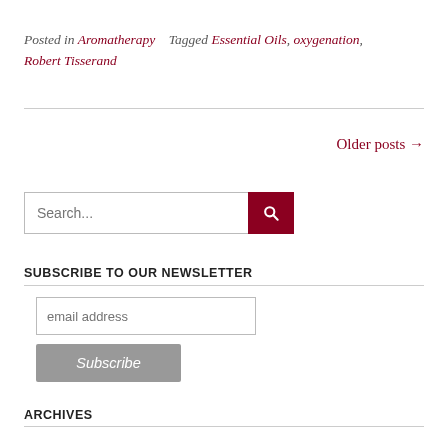Posted in Aromatherapy   Tagged Essential Oils, oxygenation, Robert Tisserand
Older posts →
[Figure (other): Search input box with dark red search button containing magnifying glass icon]
SUBSCRIBE TO OUR NEWSLETTER
[Figure (other): Email address input field and Subscribe button]
ARCHIVES